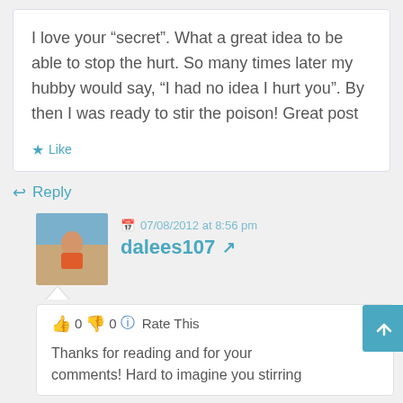I love your “secret”. What a great idea to be able to stop the hurt. So many times later my hubby would say, “I had no idea I hurt you”. By then I was ready to stir the poison! Great post
★ Like
↩ Reply
07/08/2012 at 8:56 pm
dalees107
0  0  Rate This
Thanks for reading and for your comments! Hard to imagine you stirring